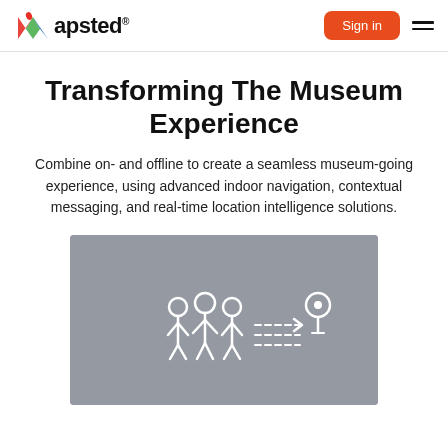Mapsted® — Sign in
Transforming The Museum Experience
Combine on- and offline to create a seamless museum-going experience, using advanced indoor navigation, contextual messaging, and real-time location intelligence solutions.
[Figure (illustration): A grey illustrated graphic showing a group of people (figures) with dashed navigation arrows pointing toward a location pin icon, representing indoor navigation guidance in a museum setting.]